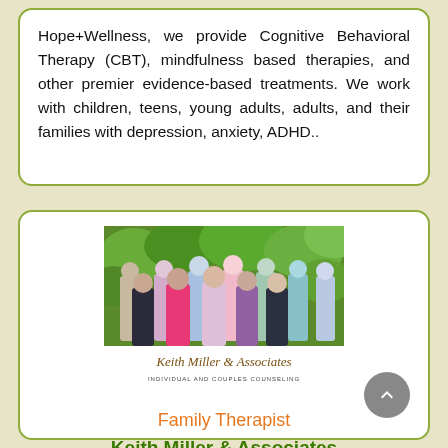Hope+Wellness, we provide Cognitive Behavioral Therapy (CBT), mindfulness based therapies, and other premier evidence-based treatments. We work with children, teens, young adults, adults, and their families with depression, anxiety, ADHD..
[Figure (photo): Group photo of therapists/staff from Keith Miller & Associates standing outdoors in front of green foliage, with the Keith Miller & Associates Individual and Couples Counseling logo below]
Family Therapist
Keith Miller & Associates